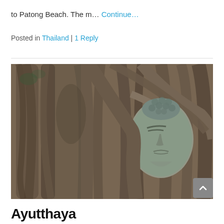to Patong Beach. The m… Continue…
Posted in Thailand | 1 Reply
[Figure (photo): A stone Buddha head entwined within the thick roots of a large Bodhi tree, at a temple in Ayutthaya, Thailand. The image shows tangled brown tree roots surrounding the serene stone face, with a curved root resting on top of the Buddha's head.]
Ayutthaya